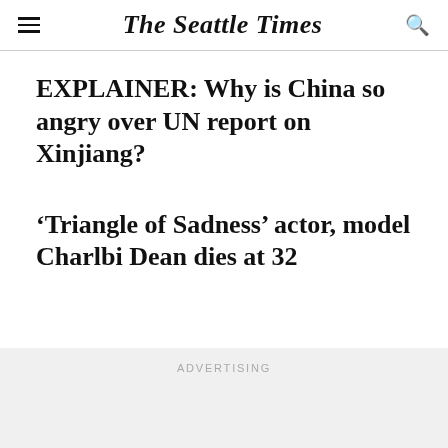The Seattle Times
EXPLAINER: Why is China so angry over UN report on Xinjiang?
‘Triangle of Sadness’ actor, model Charlbi Dean dies at 32
ADVERTISING